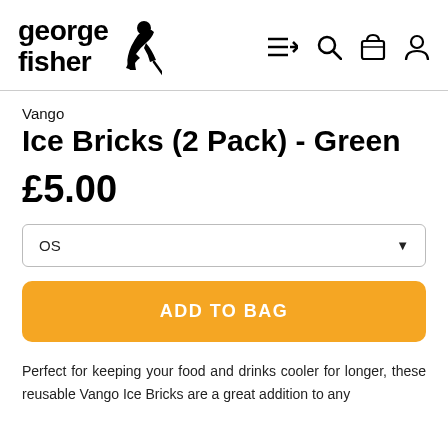[Figure (logo): George Fisher logo with climber silhouette and bold text 'george fisher']
[Figure (screenshot): Navigation icons: hamburger/arrow menu, search, bag, account]
Vango
Ice Bricks (2 Pack) - Green
£5.00
OS
ADD TO BAG
Perfect for keeping your food and drinks cooler for longer, these reusable Vango Ice Bricks are a great addition to any